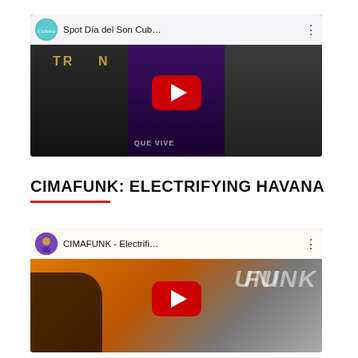[Figure (screenshot): YouTube video thumbnail for 'Spot Día del Son Cub...' with channel icon, title bar, play button, and collage of black-and-white and colorful images.]
CIMAFUNK: ELECTRIFYING HAVANA
[Figure (screenshot): YouTube video thumbnail for 'CIMAFUNK - Electrifi...' with channel icon, title bar, play button, orange/grey background with CIMAFUNK text and silhouette.]